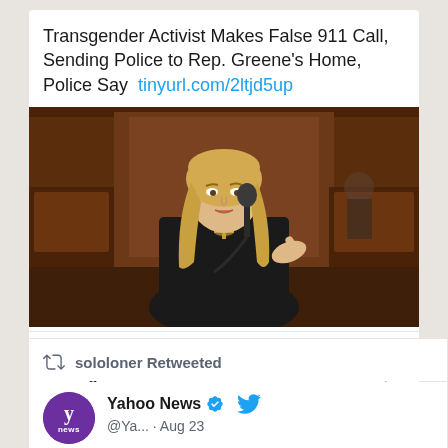Transgender Activist Makes False 911 Call, Sending Police to Rep. Greene's Home, Police Say  tinyurl.com/2ltjd5up
[Figure (photo): Photo of a blonde woman speaking at a microphone in what appears to be a legislative chamber with wood paneling in the background]
cnsnews.com
Transgender Activist Makes False 911 Call, Sending Police...
4 comments  8 likes
sololoner Retweeted
Yahoo News @Ya... · Aug 23